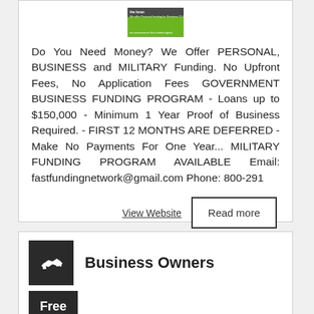[Figure (logo): Logo image with dark top bar and green background, showing funding company branding]
Do You Need Money? We Offer PERSONAL, BUSINESS and MILITARY Funding. No Upfront Fees, No Application Fees GOVERNMENT BUSINESS FUNDING PROGRAM - Loans up to $150,000 - Minimum 1 Year Proof of Business Required. - FIRST 12 MONTHS ARE DEFERRED - Make No Payments For One Year... MILITARY FUNDING PROGRAM AVAILABLE Email: fastfundingnetwork@gmail.com Phone: 800-291
View Website
Read more
[Figure (illustration): Dark square icon with white handshake graphic]
Business Owners
Free